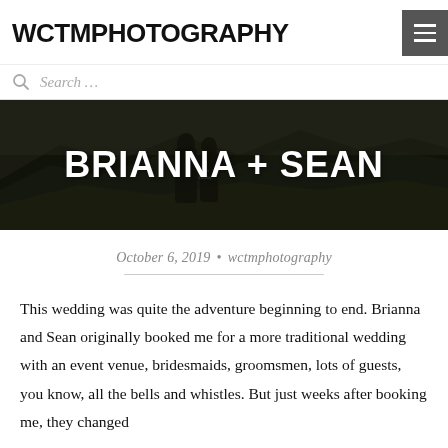WCTMPHOTOGRAPHY
Search ...
[Figure (photo): A couple standing together looking out over a forested mountain landscape, viewed from behind. The woman appears to have text on her back. The image is dark and moody.]
BRIANNA + SEAN
October 6, 2019  •  wctmphotography
This wedding was quite the adventure beginning to end. Brianna and Sean originally booked me for a more traditional wedding with an event venue, bridesmaids, groomsmen, lots of guests, you know, all the bells and whistles. But just weeks after booking me, they changed